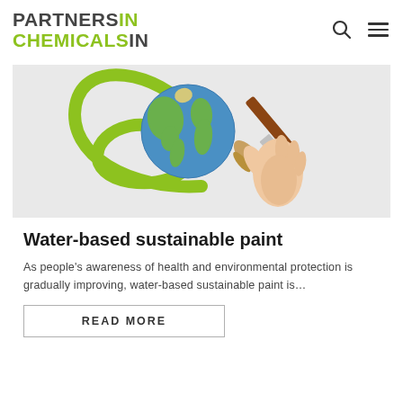PARTNERS IN CHEMICALS IN
[Figure (illustration): A hand holding a paint brush painting a green swirl around a globe of Earth, on a light gray background, representing water-based sustainable paint.]
Water-based sustainable paint
As people's awareness of health and environmental protection is gradually improving, water-based sustainable paint is…
READ MORE